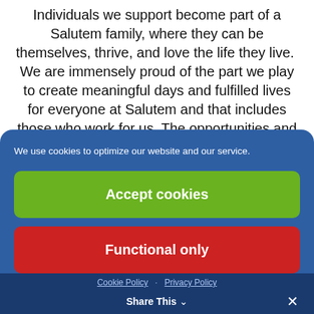Individuals we support become part of a Salutem family, where they can be themselves, thrive, and love the life they live.  We are immensely proud of the part we play to create meaningful days and fulfilled lives for everyone at Salutem and that includes those who work for us. The opportunities and prospects really are limitless, and that's why you should consider becoming part of our
We use cookies to optimize our website and our service.
Accept cookies
Functional only
View preferences
Cookie Policy · Privacy Policy   Share This ∨  ✕